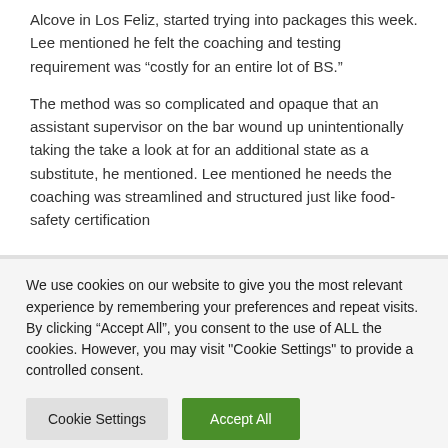Alcove in Los Feliz, started trying into packages this week. Lee mentioned he felt the coaching and testing requirement was “costly for an entire lot of BS.”
The method was so complicated and opaque that an assistant supervisor on the bar wound up unintentionally taking the take a look at for an additional state as a substitute, he mentioned. Lee mentioned he needs the coaching was streamlined and structured just like food-safety certification
We use cookies on our website to give you the most relevant experience by remembering your preferences and repeat visits. By clicking “Accept All”, you consent to the use of ALL the cookies. However, you may visit "Cookie Settings" to provide a controlled consent.